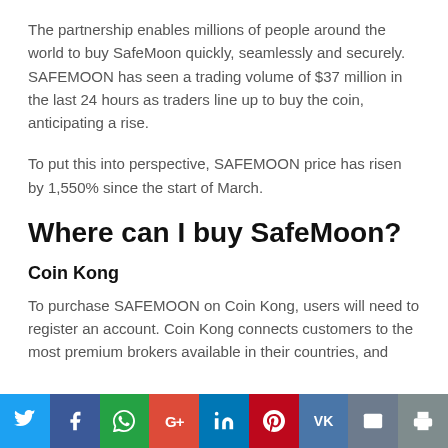The partnership enables millions of people around the world to buy SafeMoon quickly, seamlessly and securely. SAFEMOON has seen a trading volume of $37 million in the last 24 hours as traders line up to buy the coin, anticipating a rise.
To put this into perspective, SAFEMOON price has risen by 1,550% since the start of March.
Where can I buy SafeMoon?
Coin Kong
To purchase SAFEMOON on Coin Kong, users will need to register an account. Coin Kong connects customers to the most premium brokers available in their countries, and
Social share bar: Twitter, Facebook, WhatsApp, Google+, LinkedIn, Pinterest, VK, Email, Print, More